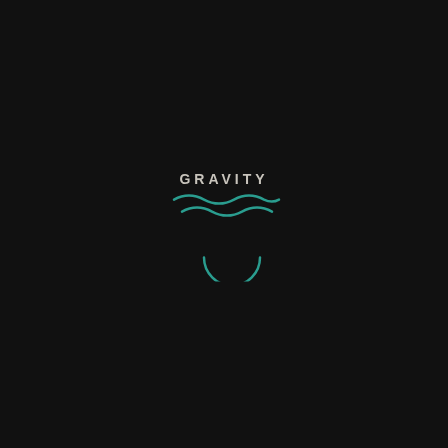[Figure (logo): Gravity logo on black background. The word GRAVITY in light gray spaced uppercase letters, with a teal/turquoise wave graphic below it (two wave lines), and a teal semicircle arc further below.]